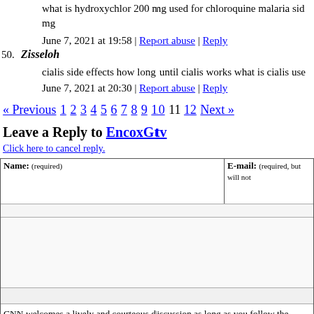what is hydroxychlor 200 mg used for chloroquine malaria side effects hydroxychloroquine 200 mg
June 7, 2021 at 19:58 | Report abuse | Reply
50. Zisseloh
cialis side effects how long until cialis works what is cialis used for
June 7, 2021 at 20:30 | Report abuse | Reply
« Previous 1 2 3 4 5 6 7 8 9 10 11 12 Next »
Leave a Reply to EncoxGtv
Click here to cancel reply.
| Name: (required) | E-mail: (required, but will not be published) |
| --- | --- |
|  |
CNN welcomes a lively and courteous discussion as long as you follow the Rules of Conduct set forth in our Terms of Service. Comments are not pre-screened before they post. You agree that anything you post may be used, along with your name and profile picture, in accordance with our Pri…